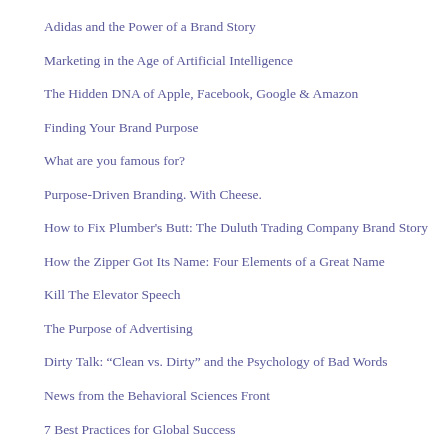Adidas and the Power of a Brand Story
Marketing in the Age of Artificial Intelligence
The Hidden DNA of Apple, Facebook, Google & Amazon
Finding Your Brand Purpose
What are you famous for?
Purpose-Driven Branding. With Cheese.
How to Fix Plumber's Butt: The Duluth Trading Company Brand Story
How the Zipper Got Its Name: Four Elements of a Great Name
Kill The Elevator Speech
The Purpose of Advertising
Dirty Talk: “Clean vs. Dirty” and the Psychology of Bad Words
News from the Behavioral Sciences Front
7 Best Practices for Global Success